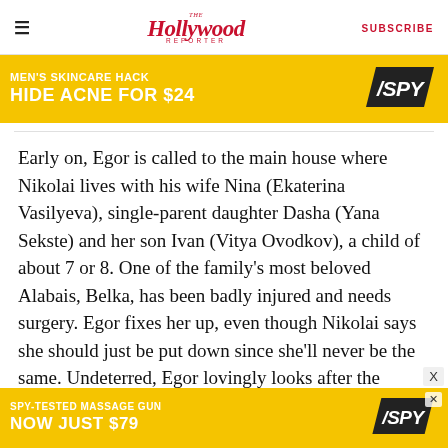The Hollywood Reporter | SUBSCRIBE
[Figure (other): Advertisement banner: MEN'S SKINCARE HACK / HIDE ACNE FOR $24 / SPY logo on yellow background]
Early on, Egor is called to the main house where Nikolai lives with his wife Nina (Ekaterina Vasilyeva), single-parent daughter Dasha (Yana Sekste) and her son Ivan (Vitya Ovodkov), a child of about 7 or 8. One of the family's most beloved Alabais, Belka, has been badly injured and needs surgery. Egor fixes her up, even though Nikolai says she should just be put down since she'll never be the same. Undeterred, Egor lovingly looks after the wounded dog, carrying her on his shoulders to the
[Figure (other): Advertisement banner: SPY-TESTED MASSAGE GUN / NOW JUST $79 / SPY logo on yellow background]